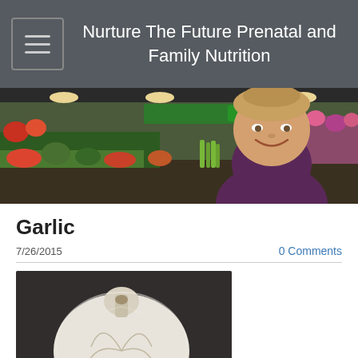Nurture The Future Prenatal and Family Nutrition
[Figure (photo): Banner photo of a smiling woman with short blonde hair in a grocery store produce section with flowers and vegetables visible in the background]
Garlic
7/26/2015
0 Comments
[Figure (photo): Close-up photo of a white garlic bulb on a dark background]